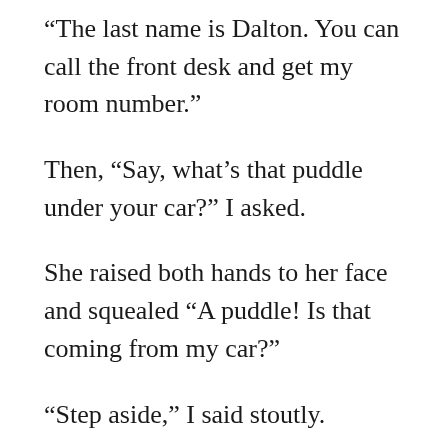“The last name is Dalton.  You can call the front desk and get my room number.”
Then, “Say, what’s that puddle under your car?” I asked.
She raised both hands to her face and squealed “A puddle!  Is that coming from my car?”
“Step aside,” I said stoutly.
I squatted.  She squatted close beside